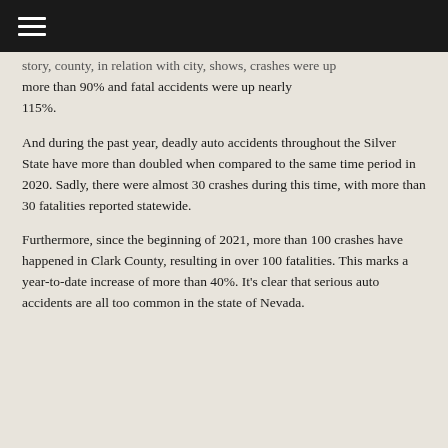[hamburger menu icon]
story, county, in relation with city, shows, crashes were up more than 90% and fatal accidents were up nearly 115%.
And during the past year, deadly auto accidents throughout the Silver State have more than doubled when compared to the same time period in 2020. Sadly, there were almost 30 crashes during this time, with more than 30 fatalities reported statewide.
Furthermore, since the beginning of 2021, more than 100 crashes have happened in Clark County, resulting in over 100 fatalities. This marks a year-to-date increase of more than 40%. It’s clear that serious auto accidents are all too common in the state of Nevada.